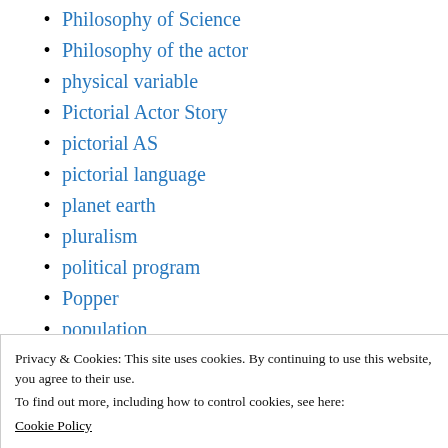Philosophy of Science
Philosophy of the actor
physical variable
Pictorial Actor Story
pictorial AS
pictorial language
planet earth
pluralism
political program
Popper
population
Privacy & Cookies: This site uses cookies. By continuing to use this website, you agree to their use.
To find out more, including how to control cookies, see here:
Cookie Policy
Close and accept
pragmatism